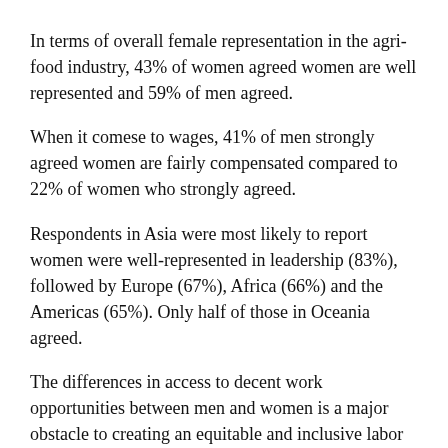In terms of overall female representation in the agri-food industry, 43% of women agreed women are well represented and 59% of men agreed.
When it comese to wages, 41% of men strongly agreed women are fairly compensated compared to 22% of women who strongly agreed.
Respondents in Asia were most likely to report women were well-represented in leadership (83%), followed by Europe (67%), Africa (66%) and the Americas (65%). Only half of those in Oceania agreed.
The differences in access to decent work opportunities between men and women is a major obstacle to creating an equitable and inclusive labor market, the ILO said. Significant effort is needed by governments, employers and trade unions to bridge the gap in the labor market, as well as initiatives to